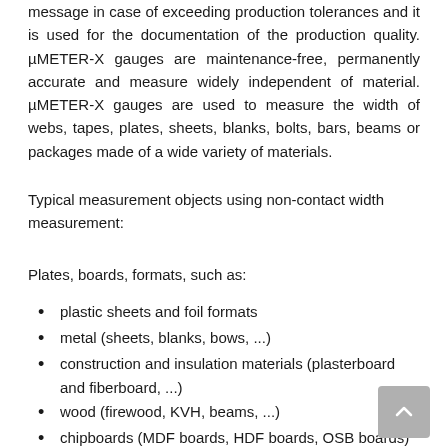message in case of exceeding production tolerances and it is used for the documentation of the production quality. µMETER-X gauges are maintenance-free, permanently accurate and measure widely independent of material. µMETER-X gauges are used to measure the width of webs, tapes, plates, sheets, blanks, bolts, bars, beams or packages made of a wide variety of materials.
Typical measurement objects using non-contact width measurement:
Plates, boards, formats, such as:
plastic sheets and foil formats
metal (sheets, blanks, bows, ...)
construction and insulation materials (plasterboard and fiberboard, ...)
wood (firewood, KVH, beams, ...)
chipboards (MDF boards, HDF boards, OSB boards)
furniture panels (MFB melamine-coated panels